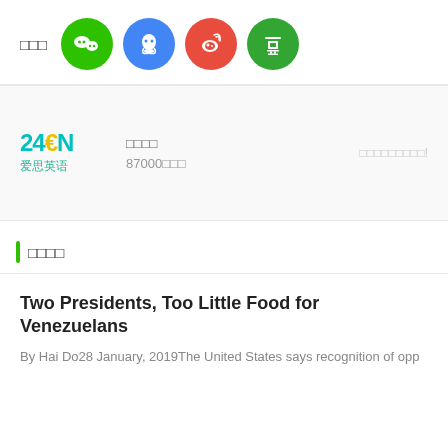[Figure (infographic): Share buttons row: label text followed by four circular social media icons — WeChat (green), QQ (blue), Weibo (red-orange), Douban (green)]
[Figure (infographic): Advertisement banner for 24EN (爱思英语) language learning site. Logo on left with '24EN 爱思英语', center shows Chinese text and '87000' subscriber count, right side shows call-to-action text in Chinese.]
□□□□
Two Presidents, Too Little Food for Venezuelans
By Hai Do28 January, 2019The United States says recognition of opp